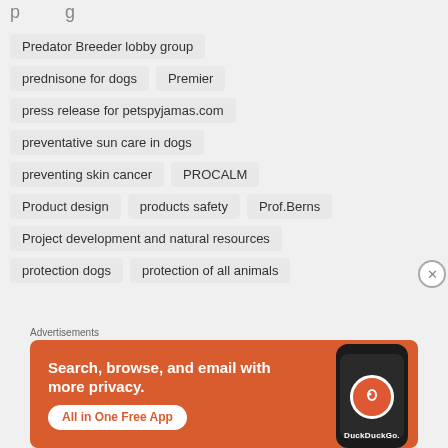Predator Breeder lobby group
prednisone for dogs
Premier
press release for petspyjamas.com
preventative sun care in dogs
preventing skin cancer
PROCALM
Product design
products safety
Prof.Berns
Project development and natural resources
protection dogs
protection of all animals
[Figure (infographic): DuckDuckGo advertisement banner: orange background with white bold text 'Search, browse, and email with more privacy.' and 'All in One Free App' button, with a phone image showing DuckDuckGo logo.]